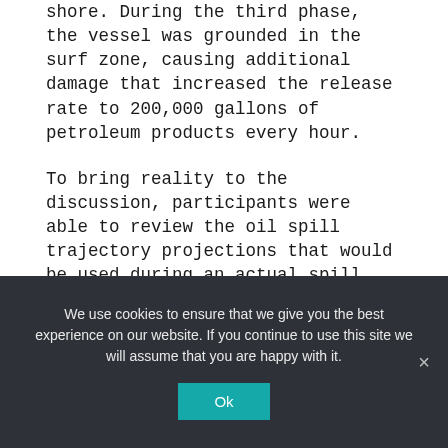shore. During the third phase, the vessel was grounded in the surf zone, causing additional damage that increased the release rate to 200,000 gallons of petroleum products every hour.
To bring reality to the discussion, participants were able to review the oil spill trajectory projections that would be used during an actual spill. The modeling, which was developed using the National Oceanic and Atmospheric Administration's oil spill trajectory model, uses information on wind and currents—along with information about the type of product spilled and the strength of the turbulence expected in the water—to predict the trajectory of the spilled oil.
We use cookies to ensure that we give you the best experience on our website. If you continue to use this site we will assume that you are happy with it.